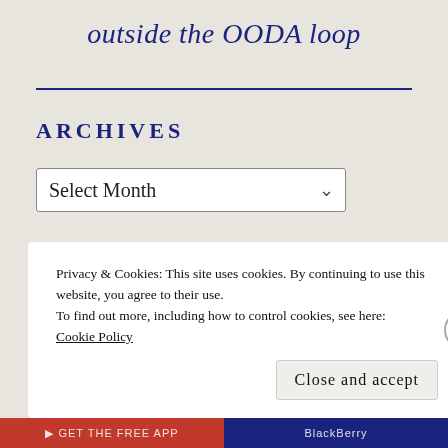outside the OODA loop
ARCHIVES
Select Month
Privacy & Cookies: This site uses cookies. By continuing to use this website, you agree to their use.
To find out more, including how to control cookies, see here: Cookie Policy
Close and accept